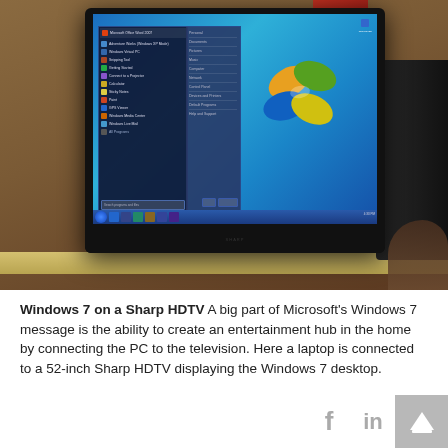[Figure (photo): A Sharp HDTV displaying the Windows 7 desktop with the Start menu open, sitting on a wooden shelf in a room. The screen shows the Windows 7 logo and Start menu with various program entries.]
Windows 7 on a Sharp HDTV A big part of Microsoft's Windows 7 message is the ability to create an entertainment hub in the home by connecting the PC to the television. Here a laptop is connected to a 52-inch Sharp HDTV displaying the Windows 7 desktop.